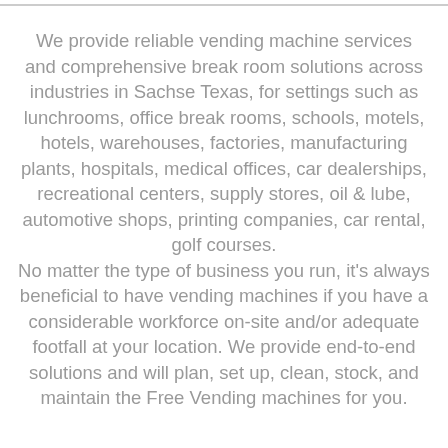We provide reliable vending machine services and comprehensive break room solutions across industries in Sachse Texas, for settings such as lunchrooms, office break rooms, schools, motels, hotels, warehouses, factories, manufacturing plants, hospitals, medical offices, car dealerships, recreational centers, supply stores, oil & lube, automotive shops, printing companies, car rental, golf courses. No matter the type of business you run, it's always beneficial to have vending machines if you have a considerable workforce on-site and/or adequate footfall at your location. We provide end-to-end solutions and will plan, set up, clean, stock, and maintain the Free Vending machines for you.